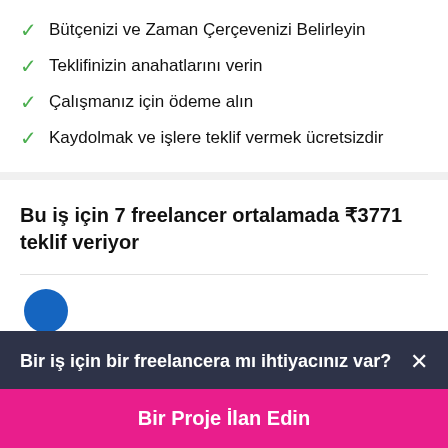Bütçenizi ve Zaman Çerçevenizi Belirleyin
Teklifinizin anahatlarını verin
Çalışmanız için ödeme alın
Kaydolmak ve işlere teklif vermek ücretsizdir
Bu iş için 7 freelancer ortalamada ₹3771 teklif veriyor
Bir iş için bir freelancera mı ihtiyacınız var?
Bir Proje İlan Edin